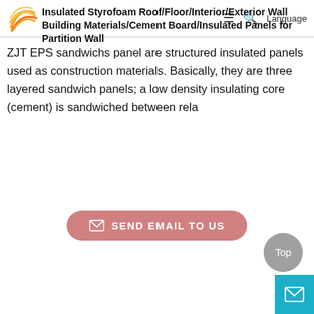[Figure (logo): Orange and yellow swirling lines logo]
Insulated Styrofoam Roof/Floor/Interior/Exterior Wall Building Materials/Cement Board/Insulated Panels for Partition Wall
ZJT EPS sandwichs panel are structured insulated panels used as construction materials. Basically, they are three layered sandwich panels; a low density insulating core (cement) is sandwiched between rela
[Figure (other): Send Email To Us button with envelope icon, pink/rose color, rounded rectangle]